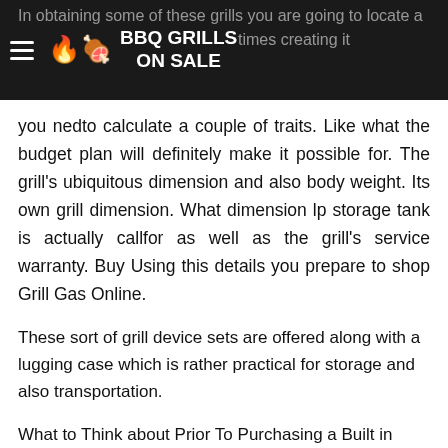BBQ GRILLS ON SALE
In obtaining some of these grills you are going to locate a wide range on … times creating it perplexing in order to what to opt for. Prior to also appearing you nedto calculate a couple of traits. Like what the budget plan will definitely make it possible for. The grill's ubiquitous dimension and also body weight. Its own grill dimension. What dimension lp storage tank is actually callfor as well as the grill's service warranty. Buy Using this details you prepare to shop Grill Gas Online.
These sort of grill device sets are offered along with a lugging case which is rather practical for storage and also transportation.
What to Think about Prior To Purchasing a Built in BBQ Grill
Electric BBQ Stand
Buy Most of lp barbecue grill canfound in stainless-steel or